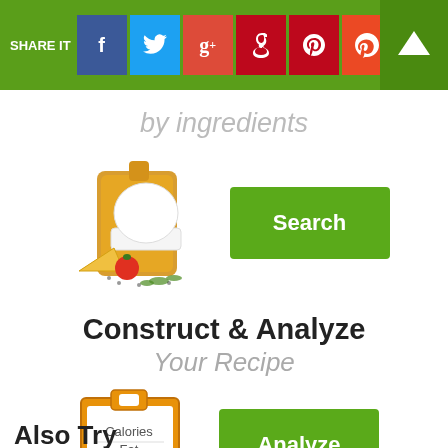SHARE IT — social share buttons: Facebook, Twitter, Google+, Pinterest, StumbleUpon
by ingredients
[Figure (illustration): Chef hat, cutting board, cheese, tomato, and herb ingredients illustration with a green Search button]
Construct & Analyze
Your Recipe
[Figure (illustration): Orange clipboard with nutrition label showing Calories, Fat, 0.98, next to a green Analyze button]
Also Try